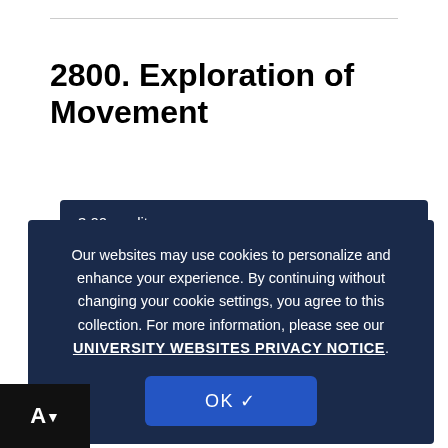2800. Exploration of Movement
3.00 credits
Prerequisites: None
Grading Basis: Graded
Use of the human body as a tool for creativity, problem solving, communication, collaboration, and storytelling.
View Classes »
Our websites may use cookies to personalize and enhance your experience. By continuing without changing your cookie settings, you agree to this collection. For more information, please see our UNIVERSITY WEBSITES PRIVACY NOTICE.
[Figure (logo): AI logo mark in white on black background]